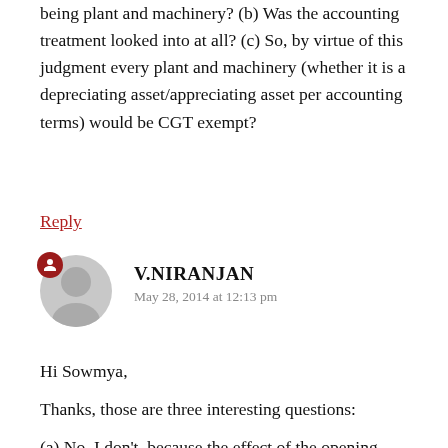being plant and machinery? (b) Was the accounting treatment looked into at all? (c) So, by virtue of this judgment every plant and machinery (whether it is a depreciating asset/appreciating asset per accounting terms) would be CGT exempt?
Reply
V.NIRANJAN
May 28, 2014 at 12:13 pm
Hi Sowmya,
Thanks, those are three interesting questions:
(a) No, I don't, because the effect of the opening words of section 44(1) is that any asset with a